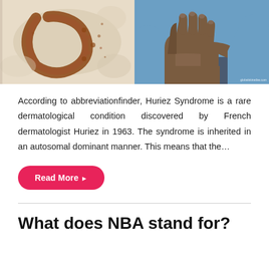[Figure (photo): Two side-by-side medical images: left shows a histological/microscopy slide with brown staining on pale tissue; right shows a hand and wrist of a dark-skinned person against a blue background, with a small watermark reading 'globalskinatlas.com']
According to abbreviationfinder, Huriez Syndrome is a rare dermatological condition discovered by French dermatologist Huriez in 1963. The syndrome is inherited in an autosomal dominant manner. This means that the…
Read More ▶
What does NBA stand for?